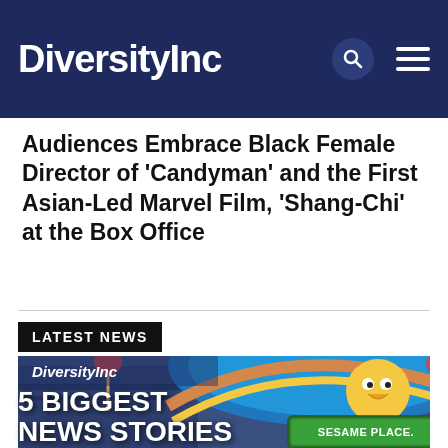DiversityInc
Audiences Embrace Black Female Director of 'Candyman' and the First Asian-Led Marvel Film, 'Shang-Chi' at the Box Office
LATEST NEWS
[Figure (photo): DiversityInc branded image showing Sesame Place sign with Big Bird character illustration and colorful theme park entrance roof]
5 BIGGEST NEWS STORIES